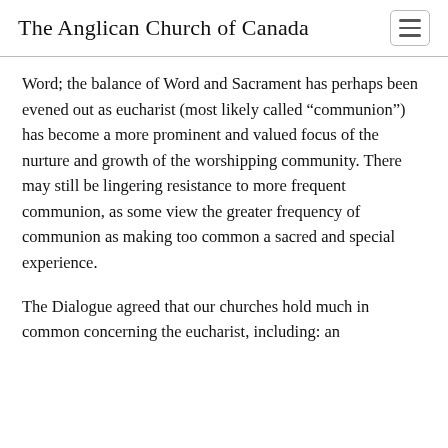The Anglican Church of Canada
Word; the balance of Word and Sacrament has perhaps been evened out as eucharist (most likely called “communion”) has become a more prominent and valued focus of the nurture and growth of the worshipping community. There may still be lingering resistance to more frequent communion, as some view the greater frequency of communion as making too common a sacred and special experience.
The Dialogue agreed that our churches hold much in common concerning the eucharist, including: an